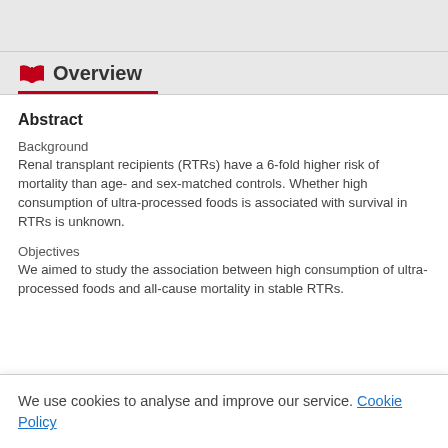Overview
Abstract
Background
Renal transplant recipients (RTRs) have a 6-fold higher risk of mortality than age- and sex-matched controls. Whether high consumption of ultra-processed foods is associated with survival in RTRs is unknown.
Objectives
We aimed to study the association between high consumption of ultra-processed foods and all-cause mortality in stable RTRs.
We use cookies to analyse and improve our service. Cookie Policy